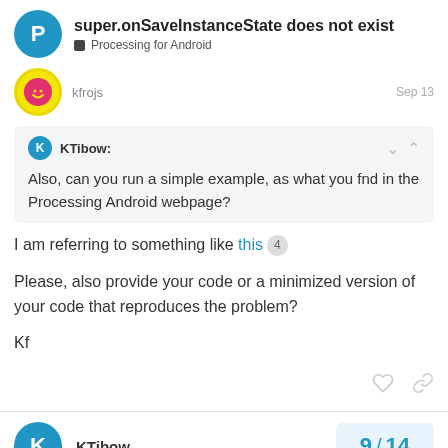super.onSaveInstanceState does not exist — Processing for Android
kfrojs: Sep 13
KTibow: Also, can you run a simple example, as what you fnd in the Processing Android webpage?
I am referring to something like this 4
Please, also provide your code or a minimized version of your code that reproduces the problem?
Kf
KTibow
9 / 14